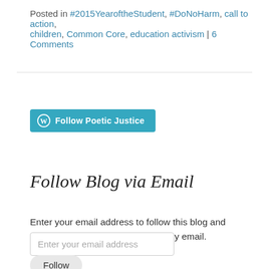Posted in #2015YearoftheStudent, #DoNoHarm, call to action, children, Common Core, education activism | 6 Comments
[Figure (other): WordPress Follow button: teal rounded rectangle with WordPress logo icon and text 'Follow Poetic Justice']
Follow Blog via Email
Enter your email address to follow this blog and receive notifications of new posts by email.
Enter your email address
Follow